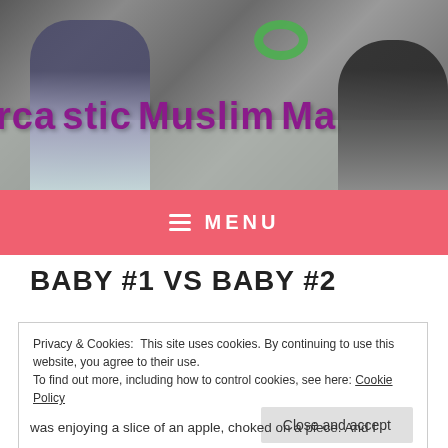[Figure (photo): Header photo of children playing on a carpet with toys, with 'Sarcastic Muslim Ma...' blog title overlaid in purple handwritten-style font]
MENU
BABY #1 VS BABY #2
Privacy & Cookies: This site uses cookies. By continuing to use this website, you agree to their use.
To find out more, including how to control cookies, see here: Cookie Policy
Close and accept
was enjoying a slice of an apple, choked on a piece. And I